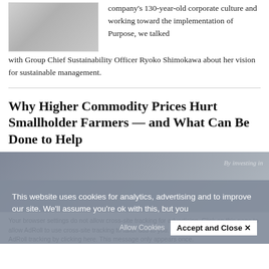[Figure (photo): Group photo of people including a woman in front of a pink background, with others in business attire]
company's 130-year-old corporate culture and working toward the implementation of Purpose, we talked with Group Chief Sustainability Officer Ryoko Shimokawa about her vision for sustainable management.
Why Higher Commodity Prices Hurt Smallholder Farmers — and What Can Be Done to Help
[Figure (photo): Article image strip showing blurred background of farming or agricultural scene]
This website uses cookies for analytics, advertising and to improve our site. We'll assume you're ok with this, but you
Allow Cookies   Accept and Close ✕
Your browser settings do not allow cross-site tracking for advertising. Click on this page to allow AdRoll to use cross-site tracking to tailor ads to you. Learn more or opt out of this AdRoll tracking by clicking here. This message only appears once.